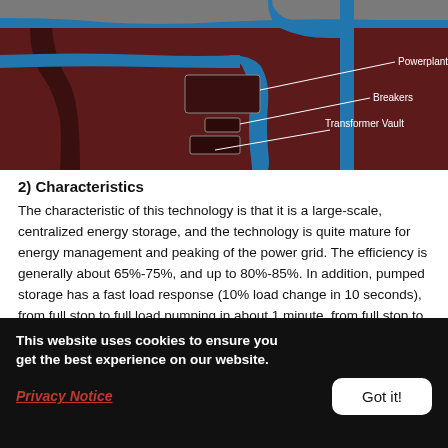[Figure (schematic): Cross-section engineering diagram of an underground powerplant facility showing tunnels, water channels (blue), Powerplant Chamber, Breakers, and Transformer Vault labeled with white callout lines against a dark reddish-brown background.]
2) Characteristics
The characteristic of this technology is that it is a large-scale, centralized energy storage, and the technology is quite mature for energy management and peaking of the power grid. The efficiency is generally about 65%-75%, and up to 80%-85%. In addition, pumped storage has a fast load response (10% load change in 10 seconds), from full stop to full load pumping in about 1 minute, from full stop to full load pumping in about 5
This website uses cookies to ensure you get the best experience on our website.
Privacy Notice
Got it!